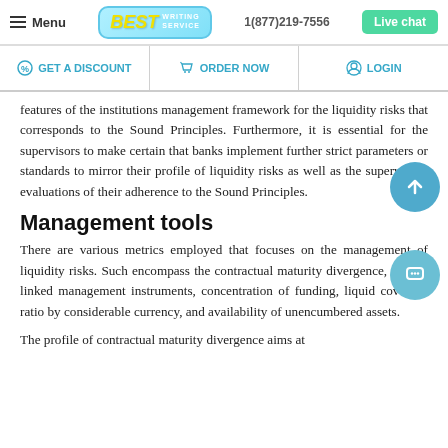Menu | BEST WRITING SERVICE | 1(877)219-7556 | Live chat
GET A DISCOUNT | ORDER NOW | LOGIN
features of the institutions management framework for the liquidity risks that corresponds to the Sound Principles. Furthermore, it is essential for the supervisors to make certain that banks implement further strict parameters or standards to mirror their profile of liquidity risks as well as the supervisor's evaluations of their adherence to the Sound Principles.
Management tools
There are various metrics employed that focuses on the management of liquidity risks. Such encompass the contractual maturity divergence, market linked management instruments, concentration of funding, liquid coverage ratio by considerable currency, and availability of unencumbered assets.
The profile of contractual maturity divergence aims at